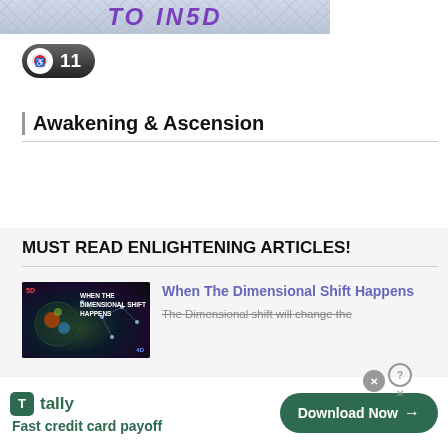[Figure (screenshot): Top banner showing 'TO IN5D' text in bold purple italic letters on a gray/blue textured background]
[Figure (other): Dark rounded pill-shaped badge with a red circle icon on left and white number '11' on right]
Awakening & Ascension
MUST READ ENLIGHTENING ARTICLES!
[Figure (screenshot): Thumbnail image for 'When The Dimensional Shift Happens' article showing cosmic/space imagery with text overlay]
When The Dimensional Shift Happens
The Dimensional shift will change the
[Figure (other): Advertisement banner for Tally app - 'Fast credit card payoff' with green Download Now button]